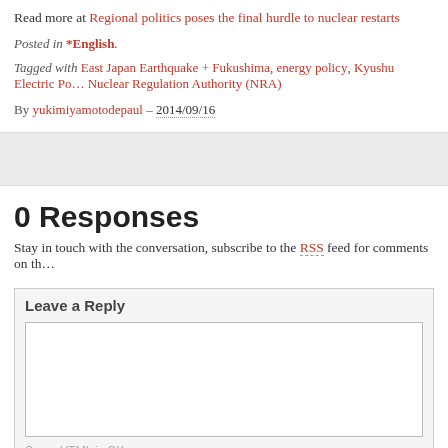Read more at Regional politics poses the final hurdle to nuclear restarts
Posted in *English.
Tagged with East Japan Earthquake + Fukushima, energy policy, Kyushu Electric Po… Nuclear Regulation Authority (NRA)
By yukimiyamotodepaul – 2014/09/16
0 Responses
Stay in touch with the conversation, subscribe to the RSS feed for comments on th…
Leave a Reply
Some HTML is OK